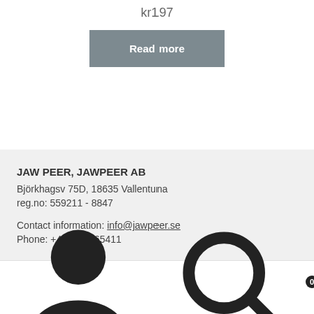kr197
Read more
JAW PEER, JAWPEER AB
Björkhagsv 75D, 18635 Vallentuna
reg.no: 559211 - 8847
Contact information: info@jawpeer.se
Phone: +46 7399 65411
[Figure (other): Bottom navigation bar with person icon, search icon, and cart icon with badge showing 0]